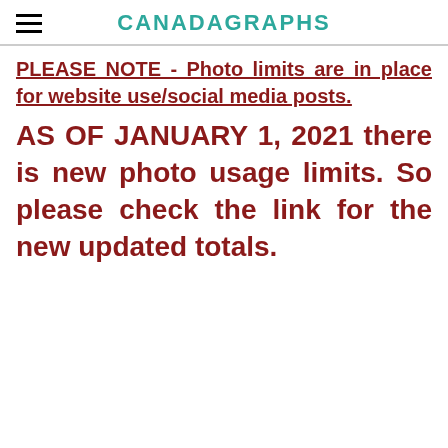CANADAGRAPHS
PLEASE NOTE - Photo limits are in place for website use/social media posts.
AS OF JANUARY 1, 2021 there is new photo usage limits. So please check the link for the new updated totals.